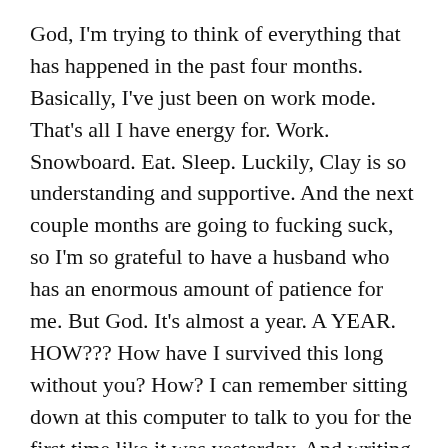God, I'm trying to think of everything that has happened in the past four months. Basically, I've just been on work mode. That's all I have energy for. Work. Snowboard. Eat. Sleep. Luckily, Clay is so understanding and supportive. And the next couple months are going to fucking suck, so I'm so grateful to have a husband who has an enormous amount of patience for me. But God. It's almost a year. A YEAR. HOW??? How have I survived this long without you? How? I can remember sitting down at this computer to talk to you for the first time like it was yesterday. And writing to you at Starbucks, hiding under my hat, telling you how I couldn't believe I'd survived six days